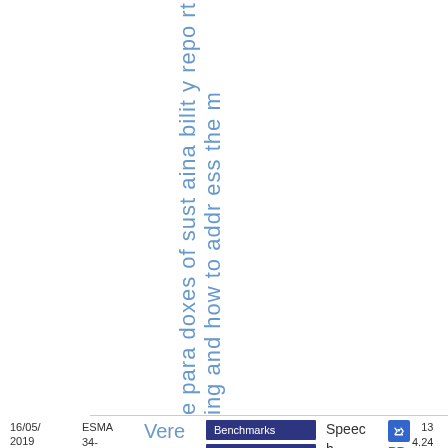e paradoxes of sustainability reporting and how to address them
16/05/2019
ESMA 34-45-712
Verena Ross -
Benchmarks
Brexit
MiFID II: Transparency
Speech
PDF
13
4.24